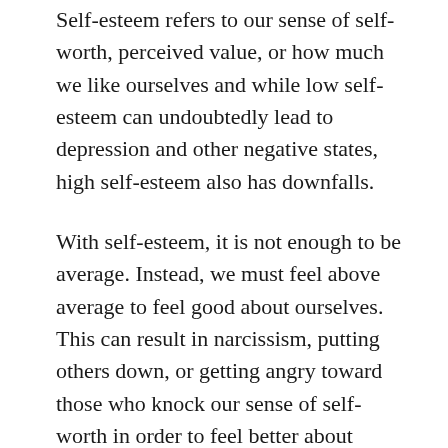Self-esteem refers to our sense of self-worth, perceived value, or how much we like ourselves and while low self-esteem can undoubtedly lead to depression and other negative states, high self-esteem also has downfalls.
With self-esteem, it is not enough to be average. Instead, we must feel above average to feel good about ourselves. This can result in narcissism, putting others down, or getting angry toward those who knock our sense of self-worth in order to feel better about ourselves. In the pursuit of high self-esteem, we may distort or hide personal shortcomings so that we don't have to face them. But what I believe to be the most important thing to note here is that self-esteem fluctuates based on